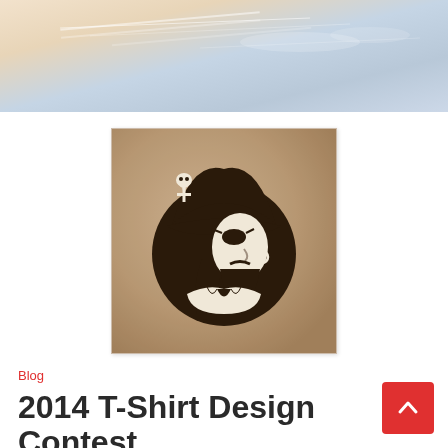[Figure (photo): Sky/clouds background header image with gradient from warm peach/cream tones on the left to blue-grey sky tones on the right, with faint aircraft contrails visible]
[Figure (illustration): Pirate logo on aged parchment background — a dark brown silhouette of a pirate with tricorn hat featuring a skull-and-crossbones emblem, eye patch, beard, and earring, set inside a circular design]
Blog
2014 T-Shirt Design Contest